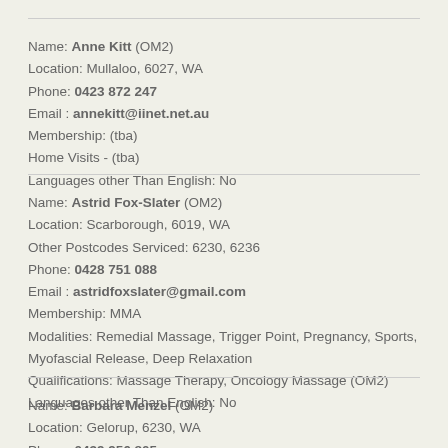Name: Anne Kitt (OM2)
Location: Mullaloo, 6027, WA
Phone: 0423 872 247
Email : annekitt@iinet.net.au
Membership: (tba)
Home Visits - (tba)
Languages other Than English: No
Name: Astrid Fox-Slater (OM2)
Location: Scarborough, 6019, WA
Other Postcodes Serviced: 6230, 6236
Phone: 0428 751 088
Email : astridfoxslater@gmail.com
Membership: MMA
Modalities: Remedial Massage, Trigger Point, Pregnancy, Sports, Myofascial Release, Deep Relaxation
Qualifications: Massage Therapy, Oncology Massage (OM2)
Languages other Than English: No
Name: Barbara Menzel (OM2)
Location: Gelorup, 6230, WA
Phone: 0439 956 805